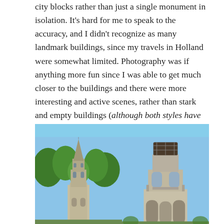city blocks rather than just a single monument in isolation. It's hard for me to speak to the accuracy, and I didn't recognize as many landmark buildings, since my travels in Holland were somewhat limited. Photography was if anything more fun since I was able to get much closer to the buildings and there were more interesting and active scenes, rather than stark and empty buildings (although both styles have an appeal). The one building I did get to see for real was the Dom Tower at Utrecht (left: mini, right: real life).
[Figure (photo): Two side-by-side photos of the Dom Tower at Utrecht. Left photo shows a miniature/model version of the gothic tower surrounded by green trees against a blue sky. Right photo shows the real-life Dom Tower, a tall gothic stone tower under partial renovation with scaffolding at the top, against a blue sky.]